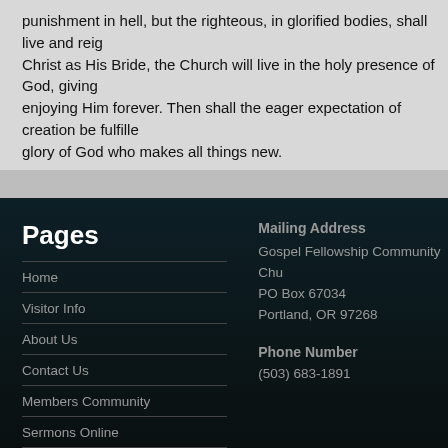punishment in hell, but the righteous, in glorified bodies, shall live and reign with Christ as His Bride, the Church will live in the holy presence of God, giving glory and enjoying Him forever. Then shall the eager expectation of creation be fulfilled, to the glory of God who makes all things new.
Pages
Home
Visitor Info
About Us
Contact Us
Members Community
Sermons Online
Missions
Mailing Address
Gospel Fellowship Community Church
PO Box 67034
Portland, OR 97268

Phone Number
(503) 683-1891